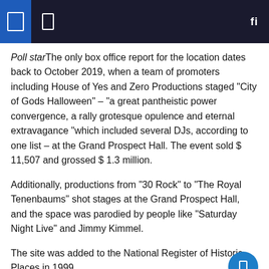Poll starThe only box office report for the location dates back to October 2019, when a team of promoters including House of Yes and Zero Productions staged “City of Gods Halloween” – “a great pantheistic power convergence, a rally grotesque opulence and eternal extravagance “which included several DJs, according to one list – at the Grand Prospect Hall. The event sold $ 11,507 and grossed $ 1.3 million.
Additionally, productions from “30 Rock” to “The Royal Tenenbaums” shot stages at the Grand Prospect Hall, and the space was parodied by people like “Saturday Night Live” and Jimmy Kimmel.
The site was added to the National Register of Historic Places in 1999.
When The Real Real contacted attorney Oded Bar, Arsi, who